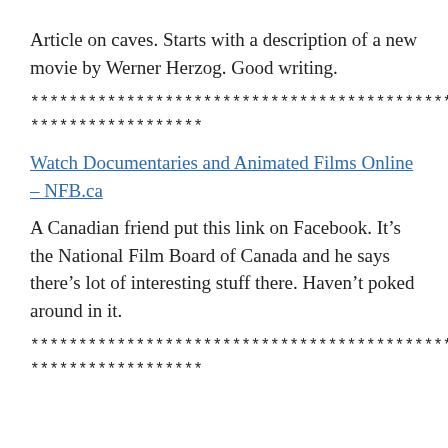Article on caves. Starts with a description of a new movie by Werner Herzog. Good writing.
**************************************************
******************
Watch Documentaries and Animated Films Online – NFB.ca
A Canadian friend put this link on Facebook. It's the National Film Board of Canada and he says there's lot of interesting stuff there. Haven't poked around in it.
**************************************************
******************